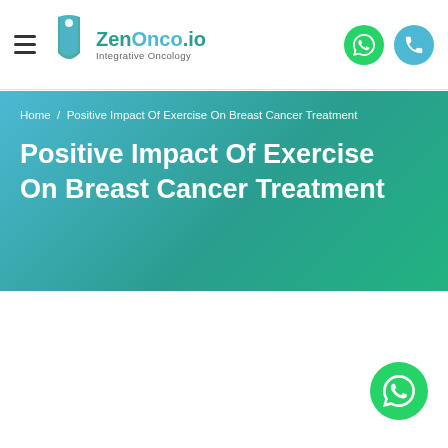ZenOnco.io Integrative Oncology — navigation header with logo, hamburger menu, WhatsApp and phone icons
Home / Positive Impact Of Exercise On Breast Cancer Treatment
Positive Impact Of Exercise On Breast Cancer Treatment